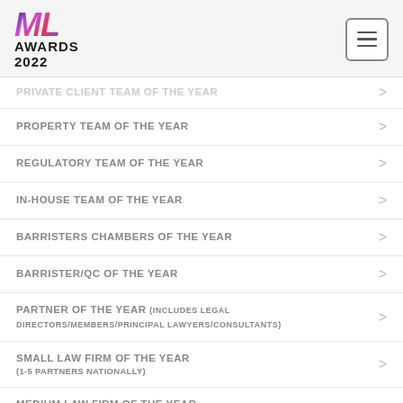ML AWARDS 2022
PRIVATE CLIENT TEAM OF THE YEAR
PROPERTY TEAM OF THE YEAR
REGULATORY TEAM OF THE YEAR
IN-HOUSE TEAM OF THE YEAR
BARRISTERS CHAMBERS OF THE YEAR
BARRISTER/QC OF THE YEAR
PARTNER OF THE YEAR (INCLUDES LEGAL DIRECTORS/MEMBERS/PRINCIPAL LAWYERS/CONSULTANTS)
SMALL LAW FIRM OF THE YEAR (1-5 PARTNERS NATIONALLY)
MEDIUM LAW FIRM OF THE YEAR (6-20 PARTNERS NATIONALLY)
LARGE LAW FIRM OF THE YEAR